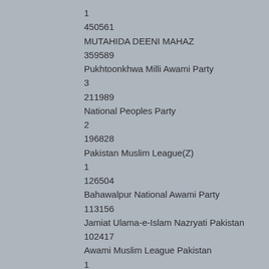1
450561
MUTAHIDA DEENI MAHAZ
359589
Pukhtoonkhwa Milli Awami Party
3
211989
National Peoples Party
2
196828
Pakistan Muslim League(Z)
1
126504
Bahawalpur National Awami Party
113156
Jamiat Ulama-e-Islam Nazryati Pakistan
102417
Awami Muslim League Pakistan
1
93051
Sindh United Party
82728